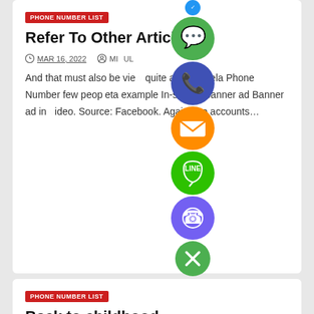PHONE NUMBER LIST
Refer To Other Article
MAR 16, 2022   MIKHAIL
And that must also be viewed quite a Venezuela Phone Number few people beta example In-stream banner ad Banner ad in-video. Source: Facebook. Again, the accounts…
[Figure (infographic): Vertical column of social media app icons: WhatsApp (green), phone/call (blue), email (orange), LINE (green), Viber (purple), close/X (green)]
PHONE NUMBER LIST
Back to childhood